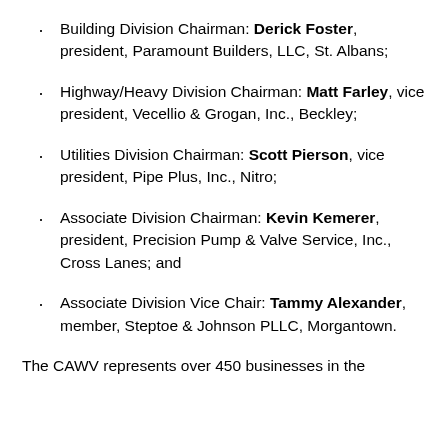Building Division Chairman: Derick Foster, president, Paramount Builders, LLC, St. Albans;
Highway/Heavy Division Chairman: Matt Farley, vice president, Vecellio & Grogan, Inc., Beckley;
Utilities Division Chairman: Scott Pierson, vice president, Pipe Plus, Inc., Nitro;
Associate Division Chairman: Kevin Kemerer, president, Precision Pump & Valve Service, Inc., Cross Lanes; and
Associate Division Vice Chair: Tammy Alexander, member, Steptoe & Johnson PLLC, Morgantown.
The CAWV represents over 450 businesses in the